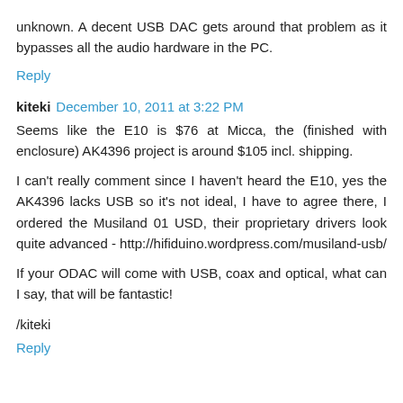unknown. A decent USB DAC gets around that problem as it bypasses all the audio hardware in the PC.
Reply
kiteki  December 10, 2011 at 3:22 PM
Seems like the E10 is $76 at Micca, the (finished with enclosure) AK4396 project is around $105 incl. shipping.
I can't really comment since I haven't heard the E10, yes the AK4396 lacks USB so it's not ideal, I have to agree there, I ordered the Musiland 01 USD, their proprietary drivers look quite advanced - http://hifiduino.wordpress.com/musiland-usb/
If your ODAC will come with USB, coax and optical, what can I say, that will be fantastic!
/kiteki
Reply